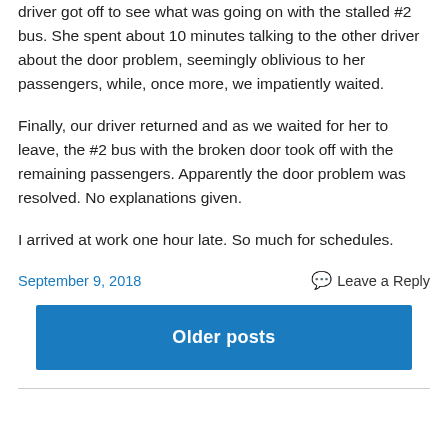driver got off to see what was going on with the stalled #2 bus.  She spent about 10 minutes talking to the other driver about the door problem, seemingly oblivious to her passengers, while, once more, we impatiently waited.
Finally, our driver returned and as we waited for her to leave, the #2 bus with the broken door took off with the remaining passengers.  Apparently the door problem was resolved.  No explanations given.
I arrived at work one hour late.  So much for schedules.
September 9, 2018
Leave a Reply
Older posts